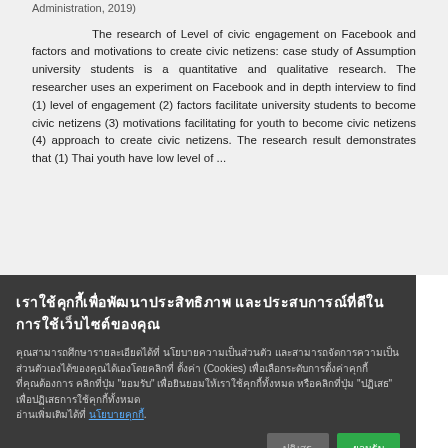Administration, 2019)
The research of Level of civic engagement on Facebook and factors and motivations to create civic netizens: case study of Assumption university students is a quantitative and qualitative research. The researcher uses an experiment on Facebook and in depth interview to find (1) level of engagement (2) factors facilitate university students to become civic netizens (3) motivations facilitating for youth to become civic netizens (4) approach to create civic netizens. The research result demonstrates that (1) Thai youth have low level of ...
เราใช้คุกกี้เพื่อพัฒนาประสิทธิภาพ และประสบการณ์ที่ดีในการใช้เว็บไซต์ของคุณ
คุณสามารถศึกษารายละเอียดได้ที่ นโยบายความเป็นส่วนตัว และสามารถจัดการความเป็นส่วนตัวเอง ได้ของคุณได้เองโดยคลิกที่ ตั้งค่า
ปฏิเสธ
ยอมรับ